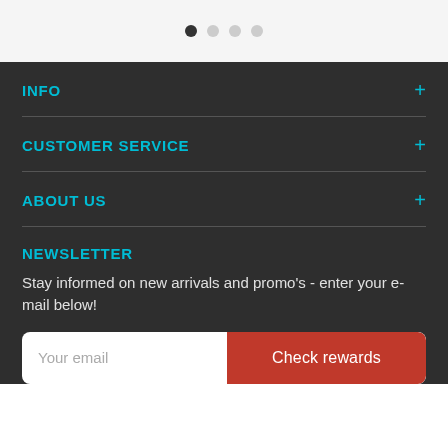[Figure (other): Pagination dots: one filled dark dot followed by three lighter/empty dots in a row]
INFO
CUSTOMER SERVICE
ABOUT US
NEWSLETTER
Stay informed on new arrivals and promo's - enter your e-mail below!
Your email  Check rewards